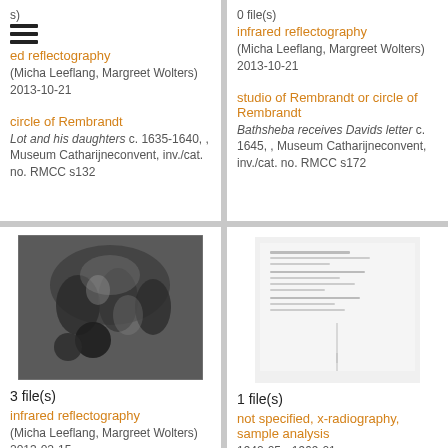s)
ed reflectography (Micha Leeflang, Margreet Wolters) 2013-10-21
circle of Rembrandt
Lot and his daughters c. 1635-1640, , Museum Catharijneconvent, inv./cat. no. RMCC s132
0 file(s)
infrared reflectography (Micha Leeflang, Margreet Wolters) 2013-10-21
studio of Rembrandt or circle of Rembrandt
Bathsheba receives Davids letter c. 1645, , Museum Catharijneconvent, inv./cat. no. RMCC s172
[Figure (photo): Black and white infrared reflectography image of a painting showing multiple figures in a biblical scene]
3 file(s)
infrared reflectography (Micha Leeflang, Margreet Wolters) 2013-02-15
Rembrandt
The baptism of the Eunuch
[Figure (photo): Scanned document or letter with text and a vertical line]
1 file(s)
not specified, x-radiography, sample analysis 1942-05 - 1969-01
Rembrandt
Self portrait dated